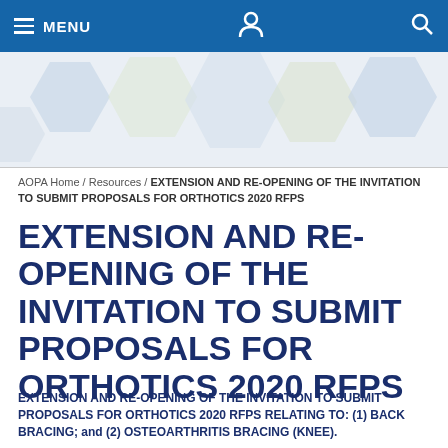MENU
[Figure (illustration): Hexagonal geometric banner with light blue, light green, and white hexagon shapes on a light gray background]
AOPA Home / Resources / EXTENSION AND RE-OPENING OF THE INVITATION TO SUBMIT PROPOSALS FOR ORTHOTICS 2020 RFPS
EXTENSION AND RE-OPENING OF THE INVITATION TO SUBMIT PROPOSALS FOR ORTHOTICS 2020 RFPS
EXTENSION AND RE-OPENING OF THE INVITATION TO SUBMIT PROPOSALS FOR ORTHOTICS 2020 RFPS RELATING TO: (1) BACK BRACING; and (2) OSTEOARTHRITIS BRACING (KNEE).